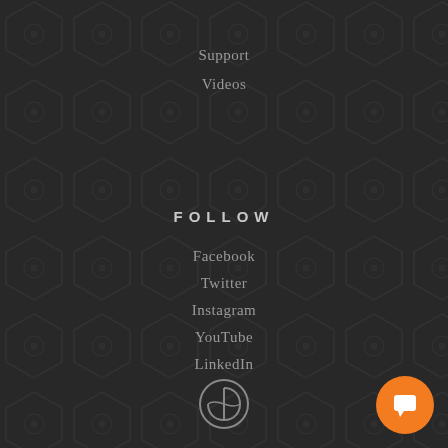Support
Videos
FOLLOW
Facebook
Twitter
Instagram
YouTube
LinkedIn
[Figure (logo): Circular logo with stylized E letter in gray]
[Figure (other): Orange circular chat/support button with white chat icon]